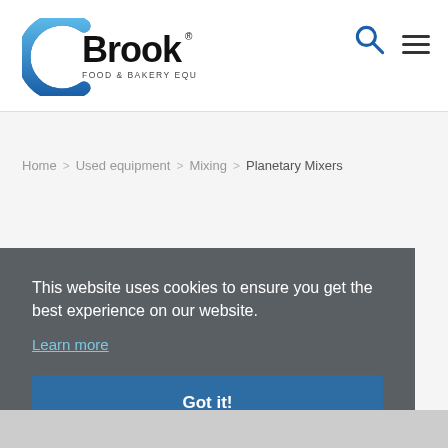[Figure (logo): Brook Food & Bakery Equipment logo with blue arc on left and bold black text]
Home > Used equipment > Mixing > Planetary Mixers
This website uses cookies to ensure you get the best experience on our website.
Learn more
Got it!